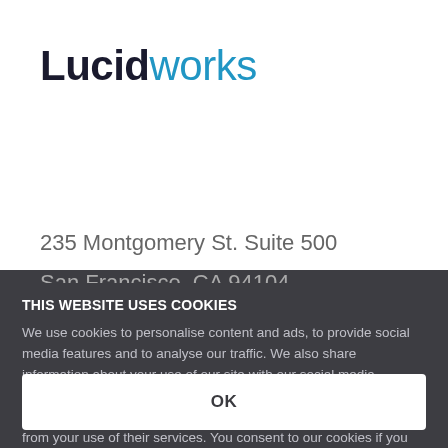[Figure (logo): Lucidworks logo with black bold 'Lucid' and blue regular 'works']
235 Montgomery St. Suite 500
San Francisco, CA 94104
THIS WEBSITE USES COOKIES
We use cookies to personalise content and ads, to provide social media features and to analyse our traffic. We also share information about your use of our site with our social media, advertising and analytics partners who may combine it with other information that you've provided to them or that they've collected from your use of their services. You consent to our cookies if you continue to use our website.
OK
Company
Press